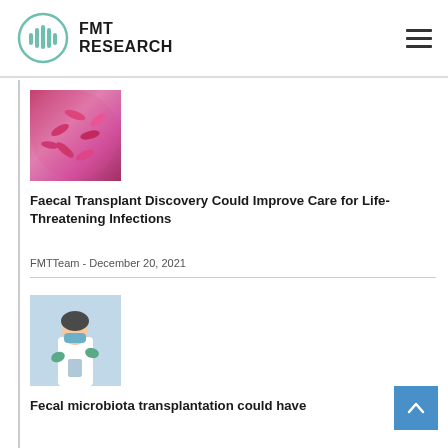FMT RESEARCH
[Figure (photo): Microscopic image of bacteria (pink/magenta colored rod-shaped bacteria on pink background)]
Faecal Transplant Discovery Could Improve Care for Life-Threatening Infections
FMTTeam - December 20, 2021
[Figure (photo): Lab researcher in a laboratory setting, wearing gloves and a mask, working with equipment]